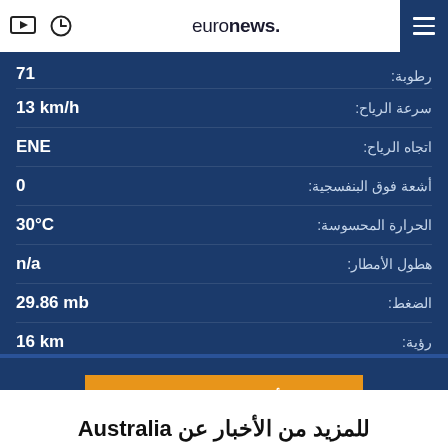euronews.
رطوبة: 71
سرعة الرياح: 13 km/h
اتجاه الرياح: ENE
أشعة فوق البنفسجية: 0
الحرارة المحسوسة: 30°C
هطول الأمطار: n/a
الضغط: 29.86 mb
رؤية: 16 km
شاهدوا أحوال الطقس حول العالم
للمزيد من الأخبار عن Australia